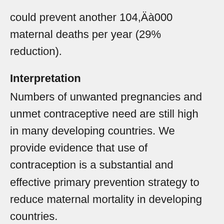could prevent another 104,000 maternal deaths per year (29% reduction).
Interpretation
Numbers of unwanted pregnancies and unmet contraceptive need are still high in many developing countries. We provide evidence that use of contraception is a substantial and effective primary prevention strategy to reduce maternal mortality in developing countries.
Funding